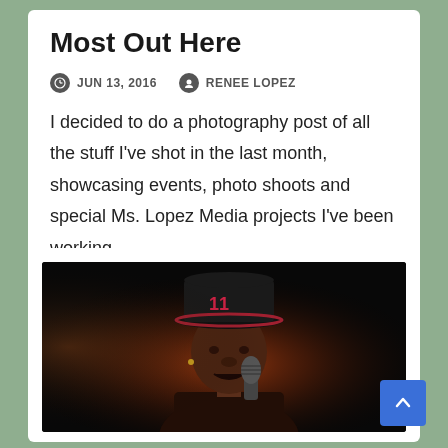Most Out Here
JUN 13, 2016   RENEE LOPEZ
I decided to do a photography post of all the stuff I've shot in the last month, showcasing events, photo shoots and special Ms. Lopez Media projects I've been working…
[Figure (photo): Dark concert photo of a performer wearing a snapback cap with number 11, holding a microphone, lit with warm orange lighting against a black background.]